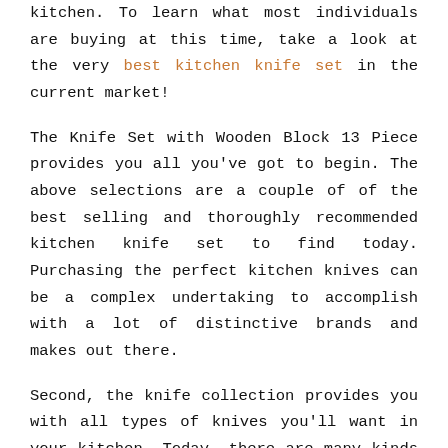kitchen. To learn what most individuals are buying at this time, take a look at the very best kitchen knife set in the current market!
The Knife Set with Wooden Block 13 Piece provides you all you've got to begin. The above selections are a couple of of the best selling and thoroughly recommended kitchen knife set to find today. Purchasing the perfect kitchen knives can be a complex undertaking to accomplish with a lot of distinctive brands and makes out there.
Second, the knife collection provides you with all types of knives you'll want in your kitchen. Today, there are many kinds of kitchen knife sets that you're able to use in the kitchen for unique pursuits. Excellent kitchen knives can